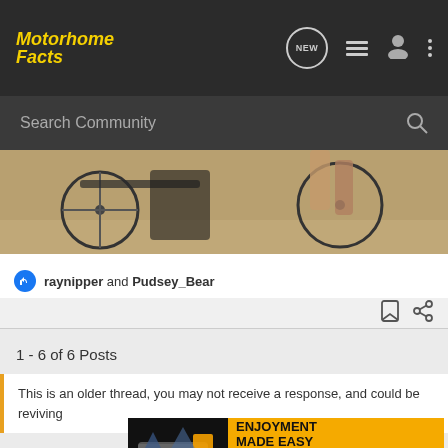Motorhome Facts
Search Community
[Figure (photo): Partial view of bicycles and a person on a sandy or dusty outdoor path, close-up of wheels and legs]
raynipper and Pudsey_Bear
1 - 6 of 6 Posts
This is an older thread, you may not receive a response, and could be reviving
[Figure (infographic): GEICO RV advertisement banner: ENJOYMENT MADE EASY - GET STARTED GEICO FOR YOUR RV]